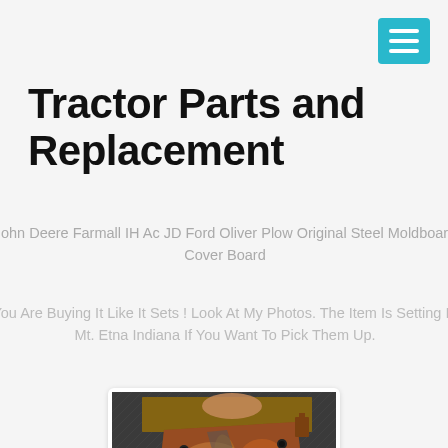Tractor Parts and Replacement
Tractor Parts and Replacement
John Deere Farmall IH AC JD Ford Oliver Plow Original Steel Moldboard Cover Board
You Are Buying It Like It Sets ! Look At My Photos. The Item Is Setting In Mt. Etna Indiana If You Want To Pick Them Up.
[Figure (photo): Photo of a rusty antique steel plow moldboard cover board with bolt holes, sitting on a textured metal surface]